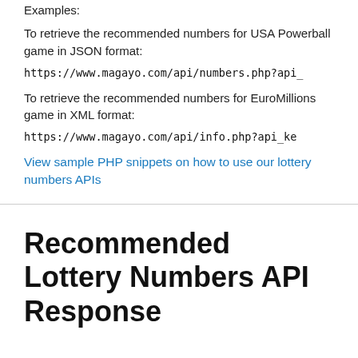Examples:
To retrieve the recommended numbers for USA Powerball game in JSON format:
https://www.magayo.com/api/numbers.php?api_
To retrieve the recommended numbers for EuroMillions game in XML format:
https://www.magayo.com/api/info.php?api_ke
View sample PHP snippets on how to use our lottery numbers APIs
Recommended Lottery Numbers API Response